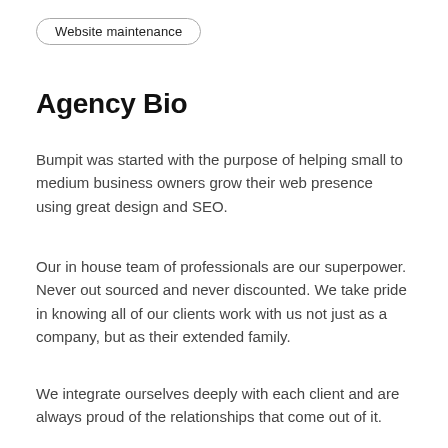Website maintenance
Agency Bio
Bumpit was started with the purpose of helping small to medium business owners grow their web presence using great design and SEO.
Our in house team of professionals are our superpower. Never out sourced and never discounted. We take pride in knowing all of our clients work with us not just as a company, but as their extended family.
We integrate ourselves deeply with each client and are always proud of the relationships that come out of it.